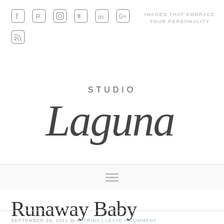Social icons: Facebook, Pinterest, Instagram, Twitter, LinkedIn, Google+, RSS | IMAGES THAT EMBRACE YOUR PERSONALITY
[Figure (logo): Studio Laguna handwritten script logo with 'STUDIO' in small caps above cursive 'Laguna' text]
≡ (hamburger menu icon)
Runaway Baby
SEPTEMBER 26, 2011 by KATRINA | LEAVE A COMMENT